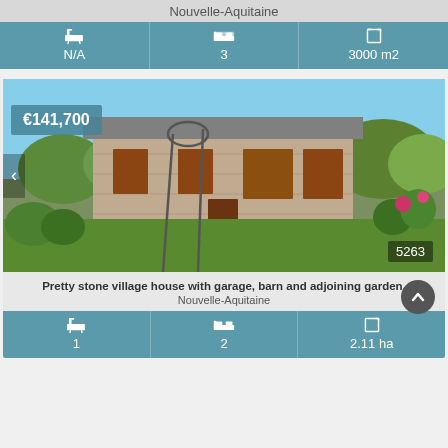Nouvelle-Aquitaine
| Bathrooms | Bedrooms | Area |
| --- | --- | --- |
| N/A | 3 | 3000 m2 |
[Figure (photo): Stone village house with garden, barn, flowers and lawn in Nouvelle-Aquitaine, France. Price tag €141,700. Photo index 5263.]
Pretty stone village house with garage, barn and adjoining garden, Nouvelle-Aquitaine
| Bathrooms | Bedrooms | Area |
| --- | --- | --- |
| 1 | 2 | 2.11 ha |